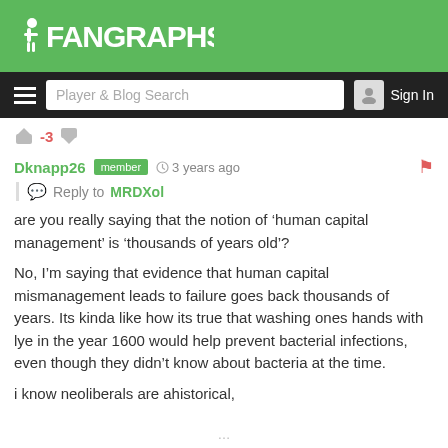FanGraphs
Player & Blog Search  Sign In
-3
Dknapp26  member  3 years ago
Reply to MRDXol
are you really saying that the notion of ‘human capital management’ is ‘thousands of years old’?
No, I’m saying that evidence that human capital mismanagement leads to failure goes back thousands of years. Its kinda like how its true that washing ones hands with lye in the year 1600 would help prevent bacterial infections, even though they didn’t know about bacteria at the time.
i know neoliberals are ahistorical,